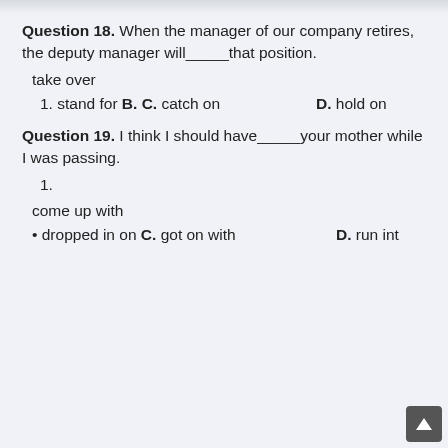Question 18. When the manager of our company retires, the deputy manager will___that position.
take over
1. stand for  B. C. catch on    D. hold on
Question 19. I think I should have___your mother while I was passing.
1.
come up with
• dropped in on  C. got on with    D. run int